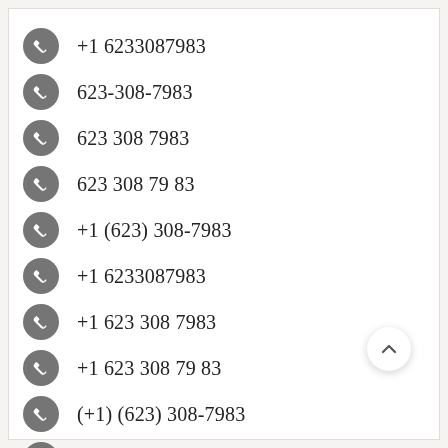+1 6233087983
623-308-7983
623 308 7983
623 308 79 83
+1 (623) 308-7983
+1 6233087983
+1 623 308 7983
+1 623 308 79 83
(+1) (623) 308-7983
(+1) 6233087983